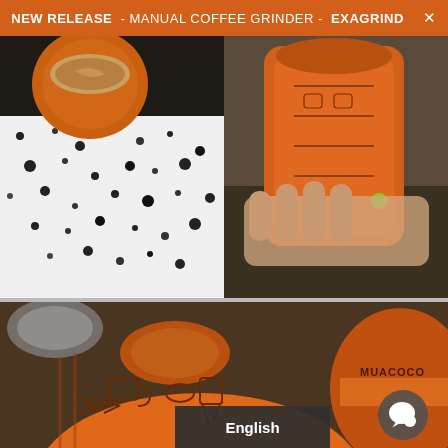NEW RELEASE - MANUAL COFFEE GRINDER - EXAGRIND  X
[Figure (photo): Two-panel photo strip. Left panel: orange coffee mug being held over a black-and-white composition notebook, close-up product lifestyle shot. Right panel: hand holding an orange manual coffee grinder (Muacaco/Exagrind brand) with detailed engravings, outdoors.]
[Figure (photo): Large close-up photo of the orange Muacaco Exagrind manual coffee grinder showing detailed illustrated engravings of coffee-related icons. Another grinder with logo text visible at right edge.]
English